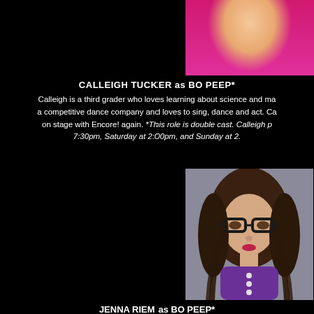[Figure (photo): Partial photo of Calleigh Tucker in a pink/magenta top, cropped at top of page]
CALLEIGH TUCKER as BO PEEP*
Calleigh is a third grader who loves learning about science and math. She is a member of a competitive dance company and loves to sing, dance and act. Calleigh is excited to be on stage with Encore! again. *This role is double cast. Calleigh performs Friday at 7:30pm, Saturday at 2:00pm, and Sunday at 2...
[Figure (photo): Headshot of Jenna Riem, a young girl with long dark hair, black glasses, and a purple top]
JENNA RIEM as BO PEEP*
Jenna is excited to make her Encore! debut as Bo Peep. She has...